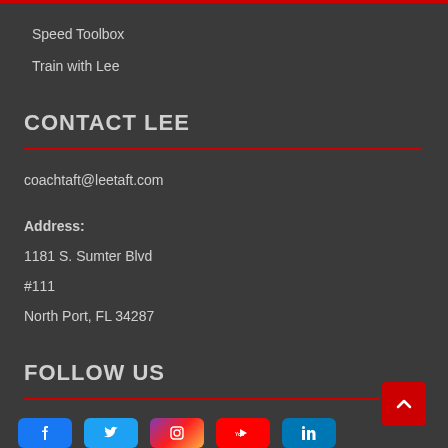Speed Toolbox
Train with Lee
CONTACT LEE
coachtaft@leetaft.com
Address:
1181 S. Sumter Blvd
#111
North Port, FL 34287
FOLLOW US
[Figure (illustration): Row of social media icons: Facebook, Twitter, Instagram, YouTube, LinkedIn]